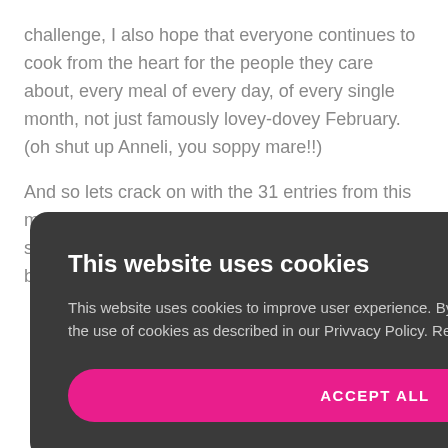challenge, I also hope that everyone continues to cook from the heart for the people they care about, every meal of every day, of every single month, not just famously lovey-dovey February. (oh shut up Anneli, you soppy mare!!)
And so lets crack on with the 31 entries from this month There is plenty here to inspire us. It might sound cliched but I am shameless and happy to be corny if it means we get to eat …erything with a
ch Rather Bake
[Figure (photo): Partial photograph visible in bottom-right corner showing what appears to be baked goods or pastries on a light surface]
This website uses cookies

This website uses cookies to improve user experience. By using our website you consent to the use of cookies as described in our Privvacy Policy. Read more

ACCEPT ALL